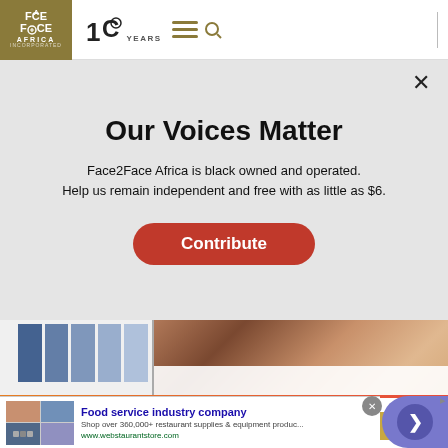Face2Face Africa — 10 Years header with navigation
Our Voices Matter
Face2Face Africa is black owned and operated.
Help us remain independent and free with as little as $6.
Contribute
[Figure (screenshot): Partially visible content behind modal: blue bar graphic on left, photo of person on right]
We use cookies to collect and analyse information on site performance and usage, and to enhance and customise content and advertising. By Clicking 'Accept' or clicking into any content...
Food service industry company
Shop over 360,000+ restaurant supplies & equipment produc...
www.webstaurantstore.com